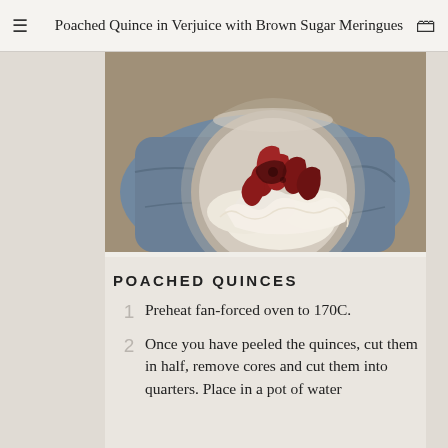Poached Quince in Verjuice with Brown Sugar Meringues
[Figure (photo): Overhead view of a ceramic bowl containing poached quince pieces (dark red/crimson) and meringues (white/cream colored), placed on a blue-grey linen cloth on a wooden surface.]
POACHED QUINCES
Preheat fan-forced oven to 170C.
Once you have peeled the quinces, cut them in half, remove cores and cut them into quarters. Place in a pot of water